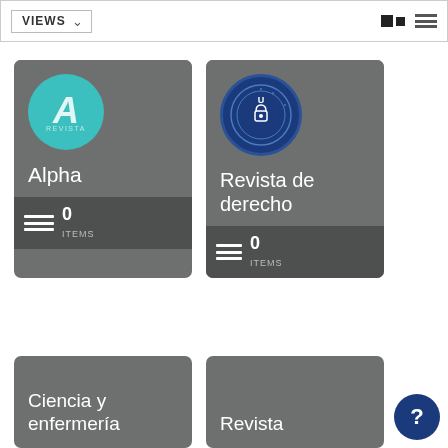[Figure (screenshot): Toolbar with VIEWS dropdown and view toggle icons (grid and list)]
[Figure (screenshot): Card for 'Alpha' publication showing teal circle logo with letter A, title Alpha, and 0 ITEMS]
[Figure (screenshot): Card for 'Revista de derecho' showing university seal logo, title Revista de derecho, and 0 ITEMS]
[Figure (screenshot): Partial card for 'Ciencia y enfermería' (cut off at bottom)]
[Figure (screenshot): Partial card for 'Revista' (cut off at bottom)]
[Figure (other): Help button (?) in dark blue circle at bottom right]